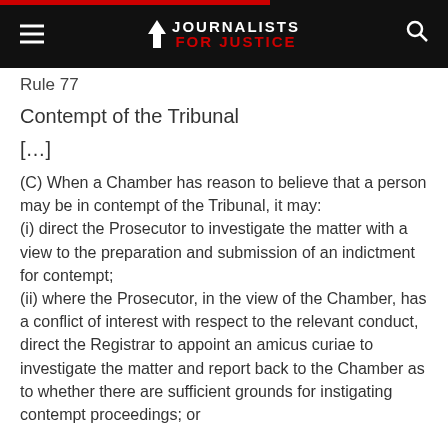JOURNALISTS FOR JUSTICE
Rule 77
Contempt of the Tribunal
[…]
(C) When a Chamber has reason to believe that a person may be in contempt of the Tribunal, it may:
(i) direct the Prosecutor to investigate the matter with a view to the preparation and submission of an indictment for contempt;
(ii) where the Prosecutor, in the view of the Chamber, has a conflict of interest with respect to the relevant conduct, direct the Registrar to appoint an amicus curiae to investigate the matter and report back to the Chamber as to whether there are sufficient grounds for instigating contempt proceedings; or